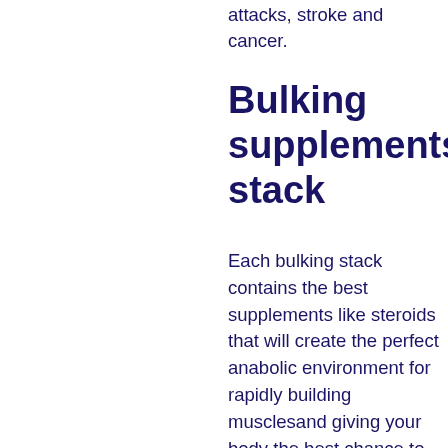attacks, stroke and cancer.
Bulking supplements stack
Each bulking stack contains the best supplements like steroids that will create the perfect anabolic environment for rapidly building musclesand giving your body the best chance to succeed at them while getting you ripped. This stack will provide you with the best results at different muscle building stages as you start to build to your full potential. These best bulking stacks are the best bang for the buck – no waste, you get the great benefits now, best anabolic steroid cycle for bulking. These supplements will give your body a boost as it gets ready for the biggest bulking phases of your life that